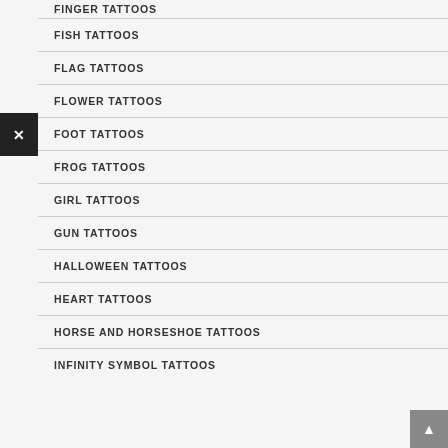FINGER TATTOOS
FISH TATTOOS
FLAG TATTOOS
FLOWER TATTOOS
FOOT TATTOOS
FROG TATTOOS
GIRL TATTOOS
GUN TATTOOS
HALLOWEEN TATTOOS
HEART TATTOOS
HORSE AND HORSESHOE TATTOOS
INFINITY SYMBOL TATTOOS